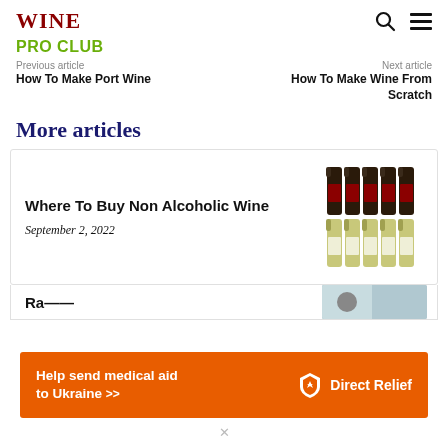WINE
PRO CLUB
Previous article
How To Make Port Wine
Next article
How To Make Wine From Scratch
More articles
Where To Buy Non Alcoholic Wine
September 2, 2022
[Figure (photo): Multiple bottles of non-alcoholic wine arranged in two rows]
Help send medical aid to Ukraine >>
[Figure (logo): Direct Relief logo with shield icon]